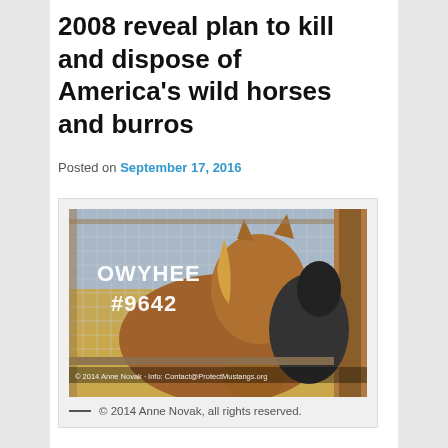2008 reveal plan to kill and dispose of America's wild horses and burros
Posted on September 17, 2016
[Figure (photo): A brown wild horse behind a wire fence with wooden posts, labeled OWYHEE #9642 in white text. A darker horse is visible behind. A watermark reads: © 2014 Anne Novak · Info: Contact@ProtectMustangs.org]
— © 2014 Anne Novak, all rights reserved.